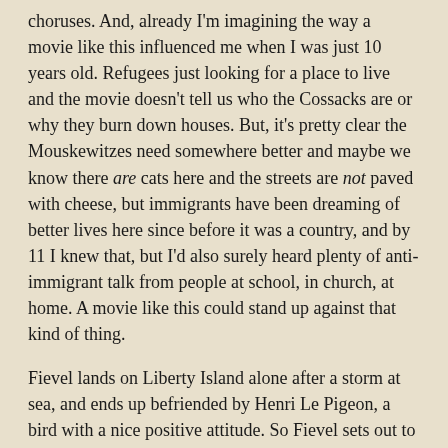choruses. And, already I'm imagining the way a movie like this influenced me when I was just 10 years old. Refugees just looking for a place to live and the movie doesn't tell us who the Cossacks are or why they burn down houses. But, it's pretty clear the Mouskewitzes need somewhere better and maybe we know there are cats here and the streets are not paved with cheese, but immigrants have been dreaming of better lives here since before it was a country, and by 11 I knew that, but I'd also surely heard plenty of anti-immigrant talk from people at school, in church, at home. A movie like this could stand up against that kind of thing.
Fievel lands on Liberty Island alone after a storm at sea, and ends up befriended by Henri Le Pigeon, a bird with a nice positive attitude. So Fievel sets out to the New York City proper and gets caught up by Warren T. Rat and stuck in a job he doesn't want.
(We hear kids reciting the Pledge of Allegiance and it anachronistically includes "under God.")
He escapes, and teams up with Tony, a streetwise kid who